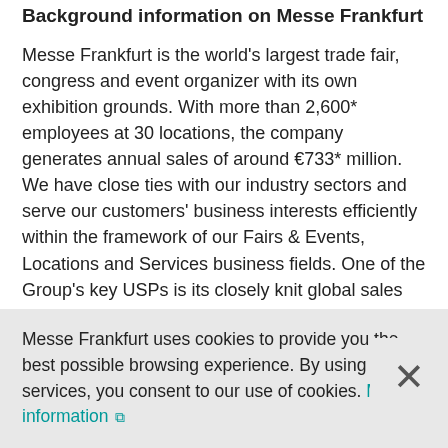Background information on Messe Frankfurt
Messe Frankfurt is the world's largest trade fair, congress and event organizer with its own exhibition grounds. With more than 2,600* employees at 30 locations, the company generates annual sales of around €733* million. We have close ties with our industry sectors and serve our customers' business interests efficiently within the framework of our Fairs & Events, Locations and Services business fields. One of the Group's key USPs is its closely knit global sales network, which extends throughout the world. Our comprehensive range of services –
Messe Frankfurt uses cookies to provide you the best possible browsing experience. By using our services, you consent to our use of cookies. More information ↗